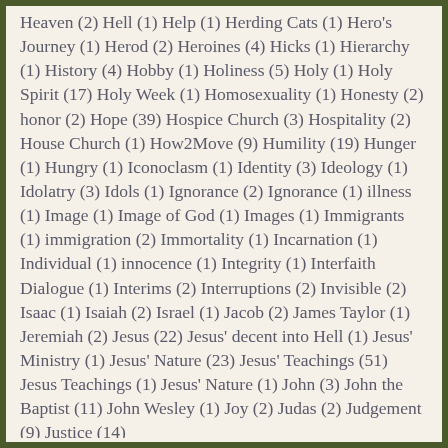Heaven (2) Hell (1) Help (1) Herding Cats (1) Hero's Journey (1) Herod (2) Heroines (4) Hicks (1) Hierarchy (1) History (4) Hobby (1) Holiness (5) Holy (1) Holy Spirit (17) Holy Week (1) Homosexuality (1) Honesty (2) honor (2) Hope (39) Hospice Church (3) Hospitality (2) House Church (1) How2Move (9) Humility (19) Hunger (1) Hungry (1) Iconoclasm (1) Identity (3) Ideology (1) Idolatry (3) Idols (1) Ignorance (2) Ignorance (1) illness (1) Image (1) Image of God (1) Images (1) Immigrants (1) immigration (2) Immortality (1) Incarnation (1) Individual (1) innocence (1) Integrity (1) Interfaith Dialogue (1) Interims (2) Interruptions (2) Invisible (2) Isaac (1) Isaiah (2) Israel (1) Jacob (2) James Taylor (1) Jeremiah (2) Jesus (22) Jesus' decent into Hell (1) Jesus' Ministry (1) Jesus' Nature (23) Jesus' Teachings (51) Jesus Teachings (1) Jesus' Nature (1) John (3) John the Baptist (11) John Wesley (1) Joy (2) Judas (2) Judgement (9) Justice (14)